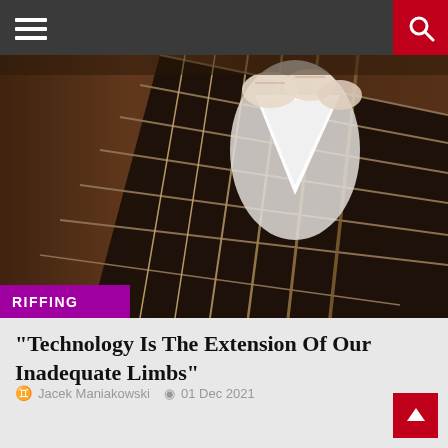Navigation bar with hamburger menu and search button
[Figure (photo): Close-up photo of a guitar neck/fretboard with strings, a white guitar pick visible, wood background, warm tones. Purple 'RIFFING' category label overlaid at bottom left.]
“Technology Is The Extension Of Our Inadequate Limbs”
Jacek Maniakowski   01 Dec 2021